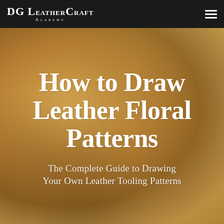DG LeatherCraft Academy
How to Draw Leather Floral Patterns
The Complete Guide to Drawing Your Own Leather Tooling Patterns